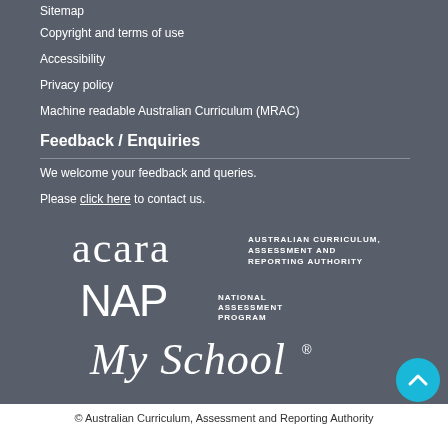Sitemap
Copyright and terms of use
Accessibility
Privacy policy
Machine readable Australian Curriculum (MRAC)
Feedback / Enquiries
We welcome your feedback and queries.
Please click here to contact us.
[Figure (logo): ACARA - Australian Curriculum, Assessment and Reporting Authority logo]
[Figure (logo): NAP - National Assessment Program logo]
[Figure (logo): My School logo]
© Australian Curriculum, Assessment and Reporting Authority